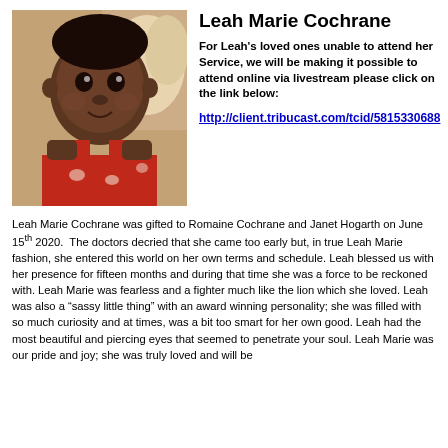[Figure (photo): Portrait photo of Leah Marie Cochrane, a baby girl wearing a red dress, smiling at the camera]
Leah Marie Cochrane
For Leah's loved ones unable to attend her Service, we will be making it possible to attend online via livestream please click on the link below:
http://client.tribucast.com/tcid/5815330688
Leah Marie Cochrane was gifted to Romaine Cochrane and Janet Hogarth on June 15th 2020.  The doctors decried that she came too early but, in true Leah Marie fashion, she entered this world on her own terms and schedule. Leah blessed us with her presence for fifteen months and during that time she was a force to be reckoned with. Leah Marie was fearless and a fighter much like the lion which she loved. Leah was also a “sassy little thing” with an award winning personality; she was filled with so much curiosity and at times, was a bit too smart for her own good. Leah had the most beautiful and piercing eyes that seemed to penetrate your soul. Leah Marie was our pride and joy; she was truly loved and will be